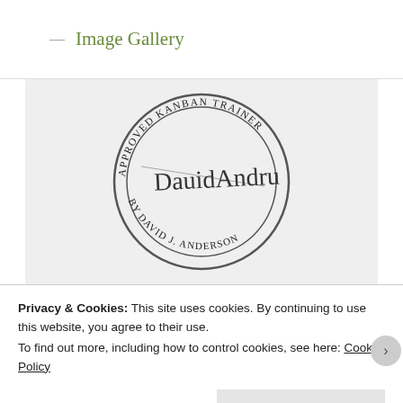— Image Gallery
[Figure (illustration): A circular stamp/seal reading 'APPROVED KANBAN TRAINER BY DAVID J ANDERSON' around the border, with a cursive signature of David J Anderson in the center.]
Privacy & Cookies: This site uses cookies. By continuing to use this website, you agree to their use.
To find out more, including how to control cookies, see here: Cookie Policy
Close and accept